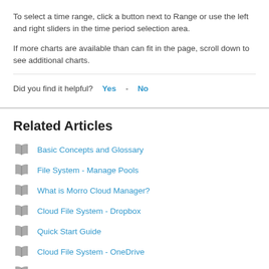To select a time range, click a button next to Range or use the left and right sliders in the time period selection area.
If more charts are available than can fit in the page, scroll down to see additional charts.
Did you find it helpful? Yes No
Related Articles
Basic Concepts and Glossary
File System - Manage Pools
What is Morro Cloud Manager?
Cloud File System - Dropbox
Quick Start Guide
Cloud File System - OneDrive
Welcome to Morro Cloud Manager (Administrator View)
The Dashboard - Administrators